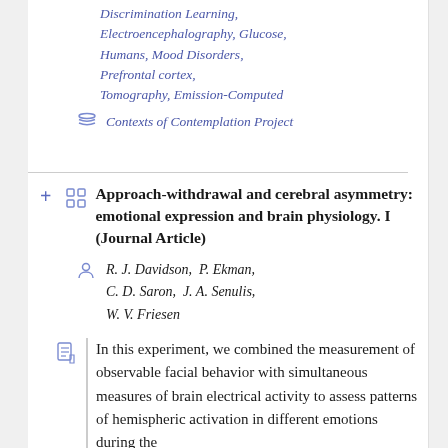Discrimination Learning, Electroencephalography, Glucose, Humans, Mood Disorders, Prefrontal cortex, Tomography, Emission-Computed
Contexts of Contemplation Project
Approach-withdrawal and cerebral asymmetry: emotional expression and brain physiology. I (Journal Article)
R. J. Davidson, P. Ekman, C. D. Saron, J. A. Senulis, W. V. Friesen
In this experiment, we combined the measurement of observable facial behavior with simultaneous measures of brain electrical activity to assess patterns of hemispheric activation in different emotions during the...